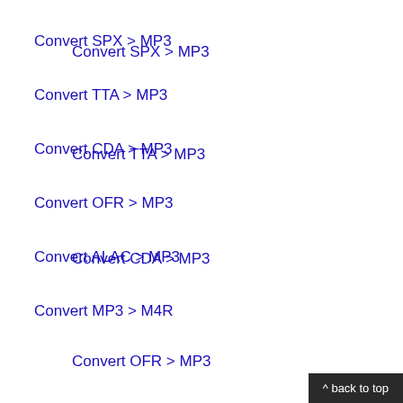Convert SPX > MP3
Convert TTA > MP3
Convert CDA > MP3
Convert OFR > MP3
Convert ALAC > MP3
Convert MP3 > M4R
^ back to top